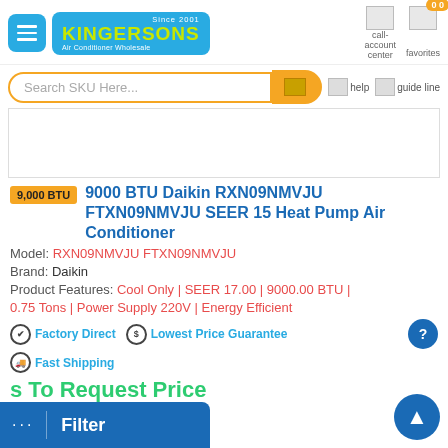Kingersons Air Conditioner Wholesale - Since 2001
Search SKU Here...
[Figure (other): Product image placeholder (white box)]
9,000 BTU  9000 BTU Daikin RXN09NMVJU FTXN09NMVJU SEER 15 Heat Pump Air Conditioner
Model: RXN09NMVJU FTXN09NMVJU
Brand: Daikin
Product Features: Cool Only | SEER 17.00 | 9000.00 BTU | 0.75 Tons | Power Supply 220V | Energy Efficient
Factory Direct   Lowest Price Guarantee   Fast Shipping
s To Request Price